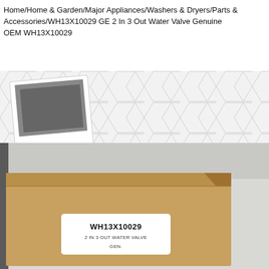Home/Home & Garden/Major Appliances/Washers & Dryers/Parts & Accessories/WH13X10029 GE 2 In 3 Out Water Valve Genuine OEM WH13X10029
[Figure (photo): Two polaroid-style thumbnail images on a hexagonal patterned background. The thumbnails show a dark gray placeholder image inside a white polaroid frame.]
[Figure (photo): Photo of a cardboard box with a white label. The label reads 'WH13X10029' in bold, '2 IN 3 OUT WATER VALVE' below it, and partially visible text below that. A dark edge is visible on the left side.]